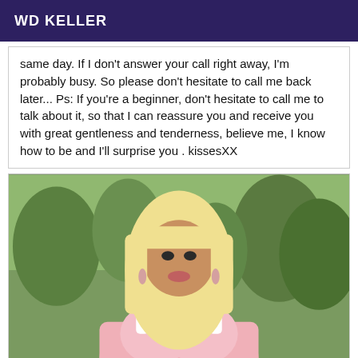WD KELLER
same day. If I don't answer your call right away, I'm probably busy. So please don't hesitate to call me back later... Ps: If you're a beginner, don't hesitate to call me to talk about it, so that I can reassure you and receive you with great gentleness and tenderness, believe me, I know how to be and I'll surprise you . kissesXX
[Figure (photo): A person with long blonde hair wearing a pink bra/top, standing outdoors with green trees in the background]